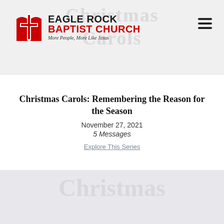[Figure (logo): Eagle Rock Baptist Church logo with red church icon and black/red text, tagline: More People, More Like Jesus]
Christmas Carols: Remembering the Reason for the Season
November 27, 2021
5 Messages
Explore This Series
[Figure (photo): Faded/watermarked background image in bottom section]